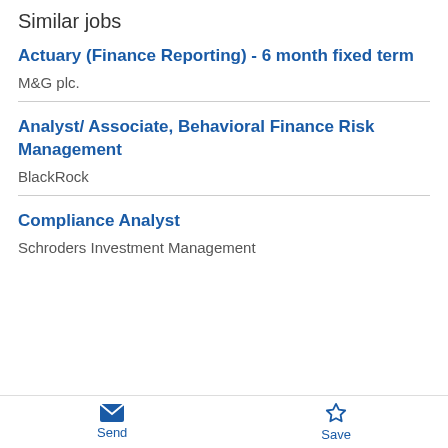Similar jobs
Actuary (Finance Reporting) - 6 month fixed term
M&G plc.
Analyst/ Associate, Behavioral Finance Risk Management
BlackRock
Compliance Analyst
Schroders Investment Management
Send  Save